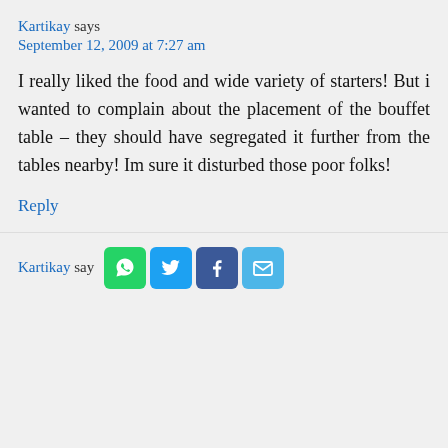Kartikay says
September 12, 2009 at 7:27 am
I really liked the food and wide variety of starters! But i wanted to complain about the placement of the bouffet table – they should have segregated it further from the tables nearby! Im sure it disturbed those poor folks!
Reply
Kartikay says